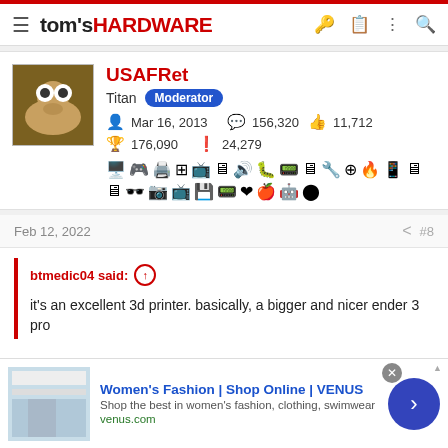tom's HARDWARE
USAFRet
Titan Moderator
Mar 16, 2013  156,320  11,712
176,090  24,279
Feb 12, 2022  #8
btmedic04 said:
it's an excellent 3d printer. basically, a bigger and nicer ender 3 pro
[Figure (screenshot): Advertisement banner for Women's Fashion | Shop Online | VENUS. Shows website thumbnail on left, ad text in center, blue CTA button on right.]